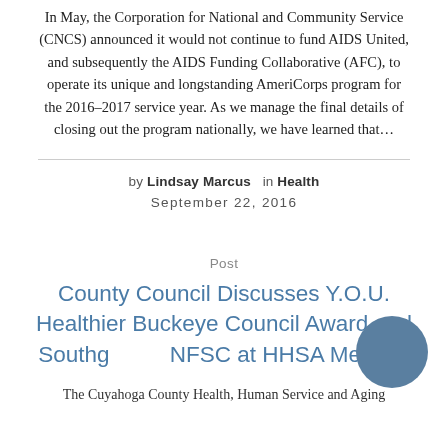In May, the Corporation for National and Community Service (CNCS) announced it would not continue to fund AIDS United, and subsequently the AIDS Funding Collaborative (AFC), to operate its unique and longstanding AmeriCorps program for the 2016–2017 service year. As we manage the final details of closing out the program nationally, we have learned that…
by Lindsay Marcus   in Health   September 22, 2016
Post
County Council Discusses Y.O.U. Healthier Buckeye Council Award and Southg... NFSC at HHSA Meeting
The Cuyahoga County Health, Human Service and Aging